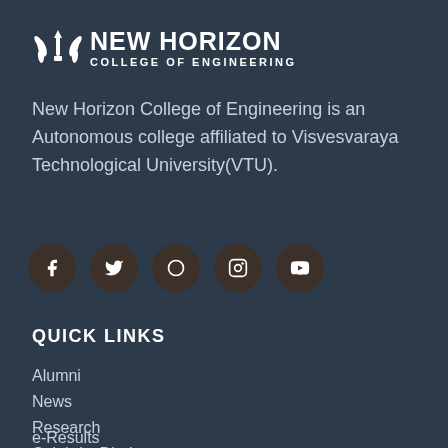[Figure (logo): New Horizon College of Engineering logo with emblem and text]
New Horizon College of Engineering is an Autonomous college affiliated to Visvesvaraya Technological University(VTU).
[Figure (infographic): Social media icons: Facebook, Twitter, (unknown), Instagram, YouTube]
QUICK LINKS
Alumni
News
Research
Celebrity Diaries
Examination
e-Results